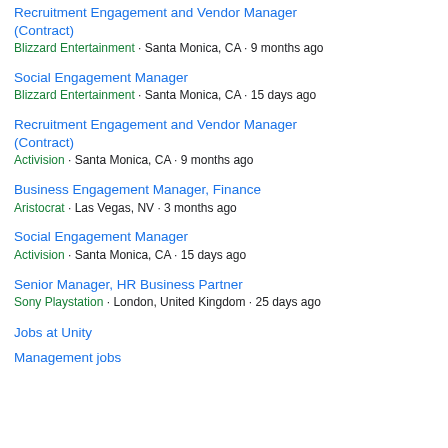Recruitment Engagement and Vendor Manager (Contract)
Blizzard Entertainment · Santa Monica, CA · 9 months ago
Social Engagement Manager
Blizzard Entertainment · Santa Monica, CA · 15 days ago
Recruitment Engagement and Vendor Manager (Contract)
Activision · Santa Monica, CA · 9 months ago
Business Engagement Manager, Finance
Aristocrat · Las Vegas, NV · 3 months ago
Social Engagement Manager
Activision · Santa Monica, CA · 15 days ago
Senior Manager, HR Business Partner
Sony Playstation · London, United Kingdom · 25 days ago
Jobs at Unity
Management jobs